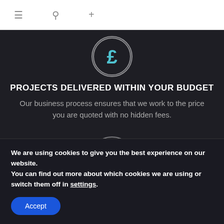≡  🔍  +
[Figure (illustration): Circle with pound (£) symbol icon in blue on dark background]
PROJECTS DELIVERED WITHIN YOUR BUDGET
Our business process ensures that we work to the price you are quoted with no hidden fees.
[Figure (illustration): Circle with clock icon in blue on dark background]
PROJECTS DELIVERED WITHIN YOUR TIMEFRAME
We are using cookies to give you the best experience on our website.
You can find out more about which cookies we are using or switch them off in settings.
Accept